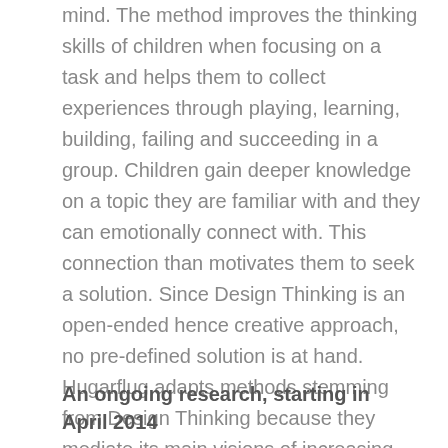mind. The method improves the thinking skills of children when focusing on a task and helps them to collect experiences through playing, learning, building, failing and succeeding in a group. Children gain deeper knowledge on a topic they are familiar with and they can emotionally connect with. This connection than motivates them to seek a solution. Since Design Thinking is an open-ended hence creative approach, no pre-defined solution is at hand. Hugarflug adapts methods stemming from Design Thinking because they mediate its main visions of increasing children's creative confidence and sense of social inclusion playfully. The workshops simultaneously provide resources and space for hands-on experimenting and prototyping, which improves handicraft skills of its participants.
An ongoing research, starting in April 2014